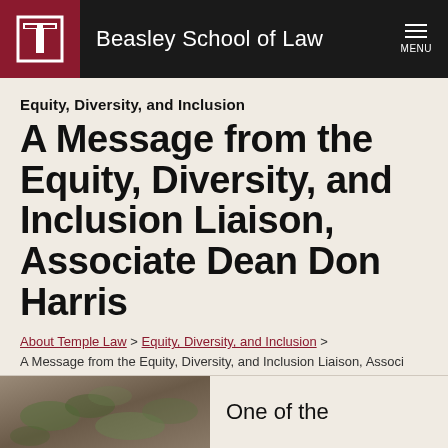Beasley School of Law
Equity, Diversity, and Inclusion
A Message from the Equity, Diversity, and Inclusion Liaison, Associate Dean Don Harris
About Temple Law > Equity, Diversity, and Inclusion > A Message from the Equity, Diversity, and Inclusion Liaison, Associ...
[Figure (photo): Partial photo visible at bottom left of page]
One of the